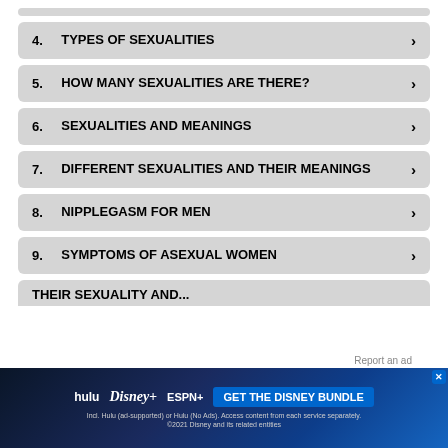4. TYPES OF SEXUALITIES
5. HOW MANY SEXUALITIES ARE THERE?
6. SEXUALITIES AND MEANINGS
7. DIFFERENT SEXUALITIES AND THEIR MEANINGS
8. NIPPLEGASM FOR MEN
9. SYMPTOMS OF ASEXUAL WOMEN
10. [THEIR SEXUALITY AND...]
[Figure (screenshot): Disney Bundle advertisement banner with Hulu, Disney+, ESPN+ logos and GET THE DISNEY BUNDLE call-to-action button]